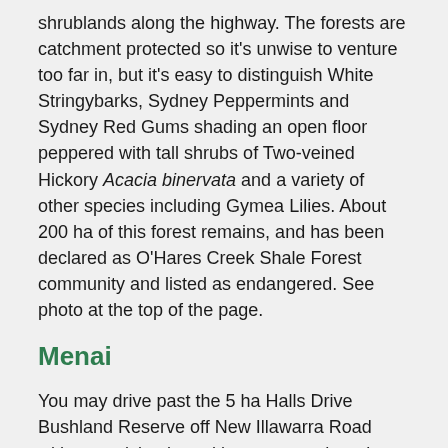shrublands along the highway. The forests are catchment protected so it's unwise to venture too far in, but it's easy to distinguish White Stringybarks, Sydney Peppermints and Sydney Red Gums shading an open floor peppered with tall shrubs of Two-veined Hickory Acacia binervata and a variety of other species including Gymea Lilies. About 200 ha of this forest remains, and has been declared as O'Hares Creek Shale Forest community and listed as endangered. See photo at the top of the page.
Menai
You may drive past the 5 ha Halls Drive Bushland Reserve off New Illawarra Road without noticing it, and be unaware there is any shale in the area,